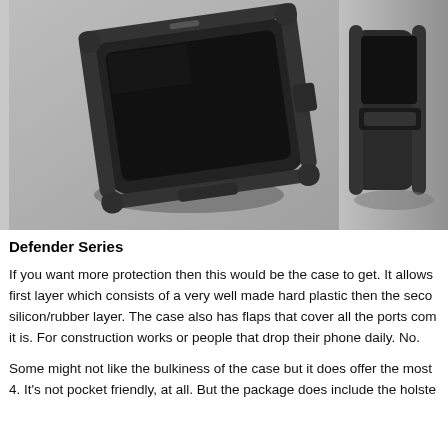[Figure (photo): Two photos of a black OtterBox Defender Series phone case on a gray surface. Left photo shows the front/top view of the case on a smartphone at an angle. Right photo (partially cropped) shows a side/edge view of the same case.]
Defender Series
If you want more protection then this would be the case to get. It allows first layer which consists of a very well made hard plastic then the seco silicon/rubber layer. The case also has flaps that cover all the ports com it is. For construction works or people that drop their phone daily. No.
Some might not like the bulkiness of the case but it does offer the most 4. It's not pocket friendly, at all. But the package does include the holste